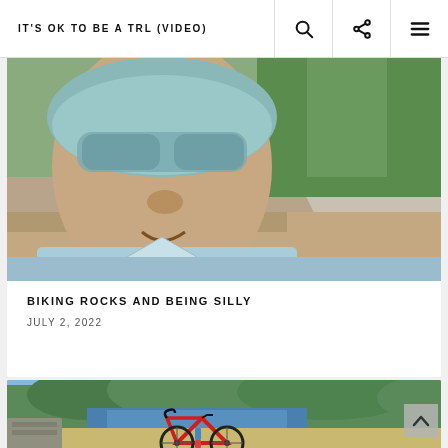IT'S OK TO BE A TRL (VIDEO)
[Figure (photo): Close-up selfie of a person wearing a bicycle helmet and goggles in a light blue jersey, with trees and a road visible in the background.]
BIKING ROCKS AND BEING SILLY
JULY 2, 2022
[Figure (photo): A red road/gravel bicycle leaning against a stone wall with a reservoir and forested hills in the background under a blue sky.]